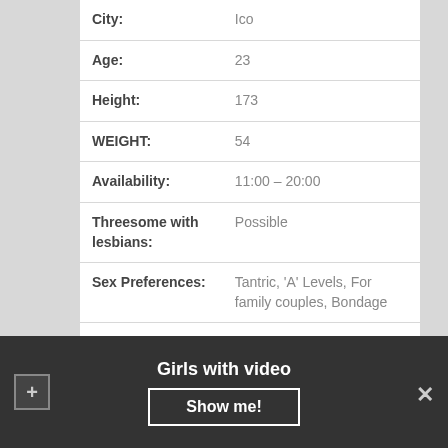| Field | Value |
| --- | --- |
| City: | Ico |
| Age: | 23 |
| Height: | 173 |
| WEIGHT: | 54 |
| Availability: | 11:00 – 20:00 |
| Threesome with lesbians: | Possible |
| Sex Preferences: | Tantric, 'A' Levels, For family couples, Bondage |
| Body: | 85-56-89 |
| 1hr: | 60 |
| Ethnic Group: | Lithuanian |
Girls with video
Show me!